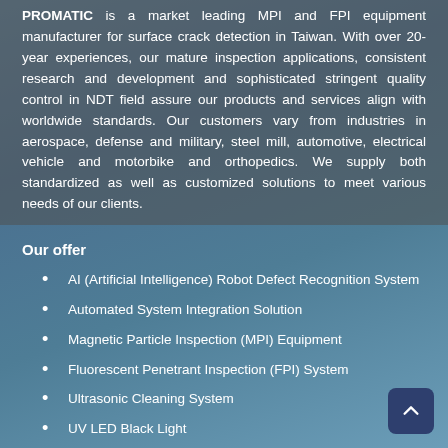PROMATIC is a market leading MPI and FPI equipment manufacturer for surface crack detection in Taiwan. With over 20-year experiences, our mature inspection applications, consistent research and development and sophisticated stringent quality control in NDT field assure our products and services align with worldwide standards. Our customers vary from industries in aerospace, defense and military, steel mill, automotive, electrical vehicle and motorbike and orthopedics. We supply both standardized as well as customized solutions to meet various needs of our clients.
Our offer
AI (Artificial Intelligence) Robot Defect Recognition System
Automated System Integration Solution
Magnetic Particle Inspection (MPI) Equipment
Fluorescent Penetrant Inspection (FPI) System
Ultrasonic Cleaning System
UV LED Black Light